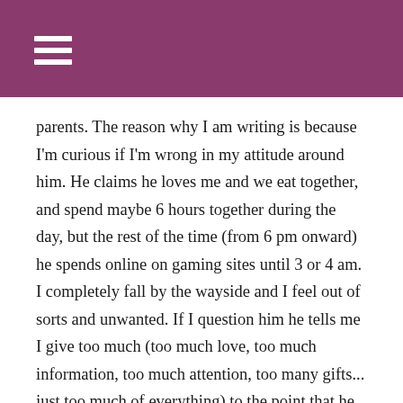≡
parents. The reason why I am writing is because I'm curious if I'm wrong in my attitude around him. He claims he loves me and we eat together, and spend maybe 6 hours together during the day, but the rest of the time (from 6 pm onward) he spends online on gaming sites until 3 or 4 am. I completely fall by the wayside and I feel out of sorts and unwanted. If I question him he tells me I give too much (too much love, too much information, too much attention, too many gifts... just too much of everything) to the point that he feels annoyed. I wonder if my feelings of wanting more attention is normal, or not.
Thank you, Papa Bear.
Overwhelmed in Oregon